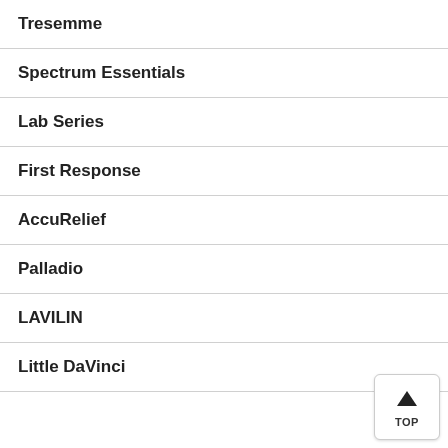Tresemme
Spectrum Essentials
Lab Series
First Response
AccuRelief
Palladio
LAVILIN
Little DaVinci